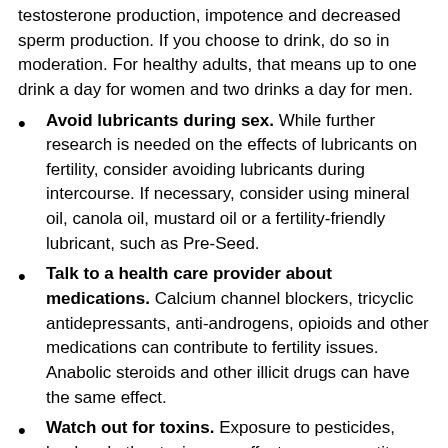testosterone production, impotence and decreased sperm production. If you choose to drink, do so in moderation. For healthy adults, that means up to one drink a day for women and two drinks a day for men.
Avoid lubricants during sex. While further research is needed on the effects of lubricants on fertility, consider avoiding lubricants during intercourse. If necessary, consider using mineral oil, canola oil, mustard oil or a fertility-friendly lubricant, such as Pre-Seed.
Talk to a health care provider about medications. Calcium channel blockers, tricyclic antidepressants, anti-androgens, opioids and other medications can contribute to fertility issues. Anabolic steroids and other illicit drugs can have the same effect.
Watch out for toxins. Exposure to pesticides, lead and other toxins can affect sperm quantity and quality. If you must work with toxins, do so safely. For example, wear protective clothing, use protective equipment, such as safety goggles, and avoid skin contact with chemicals.
Stay cool. Increased scrotal temperature can hamper sperm production. Although the benefits have not been